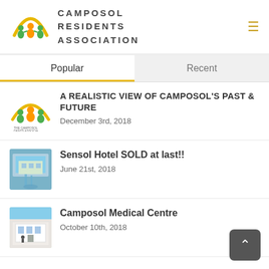[Figure (logo): Camposol Residents Association logo with three figures under a yellow arc and association name text]
Popular
Recent
[Figure (logo): Camposol Residents Association small logo thumbnail]
A REALISTIC VIEW OF CAMPOSOL'S PAST & FUTURE
December 3rd, 2018
[Figure (photo): Photo of Sensol Hotel building with waterfall]
Sensol Hotel SOLD at last!!
June 21st, 2018
[Figure (photo): Photo of Camposol Medical Centre exterior]
Camposol Medical Centre
October 10th, 2018